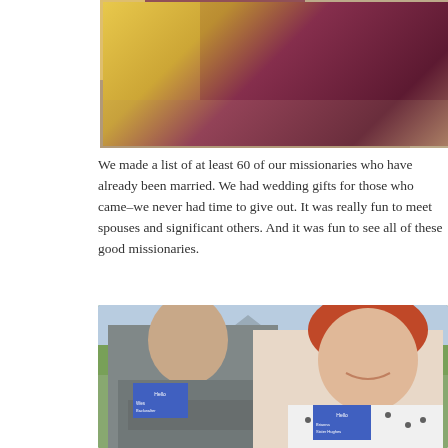[Figure (photo): Two side-by-side cropped photos at the top of the page. Left photo shows a woman in a yellow shirt and a woman in a dark maroon top with a name tag at what appears to be a gathering. Right photo shows two people standing outdoors on a brick/stone surface, one in a striped shirt.]
We made a list of at least 60 of our missionaries who have already been married. We had wedding gifts for those who came–we never had time to give out. It was really fun to meet spouses and significant others. And it was fun to see all of these good missionaries.
[Figure (photo): A smiling young man wearing a gray Old Navy t-shirt and a blue Hello name tag reading 'Wes Backwalter' stands next to a smiling woman with red/auburn hair wearing a white polka-dot top and a blue Hello name tag. They are at an outdoor gathering with mountains and greenery in the background.]